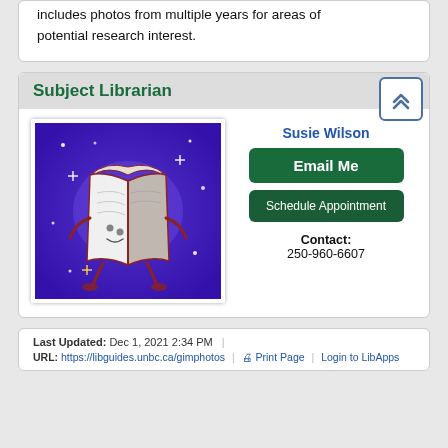includes photos from multiple years for areas of potential research interest.
Subject Librarian
[Figure (illustration): Cartoon illustration of a smiling anthropomorphic book character with arms and legs, open pages, on a purple/blue starry background.]
Susie Wilson
Email Me
Schedule Appointment
Contact:
250-960-6607
Last Updated: Dec 1, 2021 2:34 PM
URL: https://libguides.unbc.ca/gimphotos   Print Page   Login to LibApps